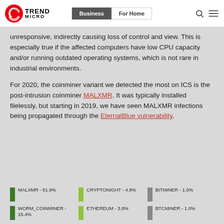Trend Micro | Business | For Home
unresponsive, indirectly causing loss of control and view. This is especially true if the affected computers have low CPU capacity and/or running outdated operating systems, which is not rare in industrial environments.
For 2020, the coinminer variant we detected the most on ICS is the post-intrusion coinminer MALXMR. It was typically installed filelessly, but starting in 2019, we have seen MALXMR infections being propagated through the EternalBlue vulnerability.
MALXMR - 51.9%
WORM_COINMINER - 15.4%
CRYPTONIGHT - 4.8%
ETHEREUM - 3.8%
BITMINER - 1.0%
BTCMINER - 1.0%